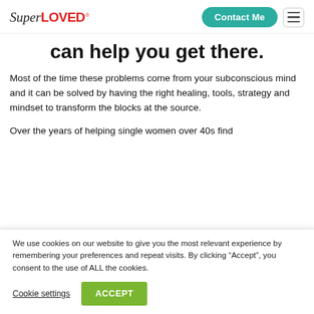SuperLOVED | Contact Me
can help you get there.
Most of the time these problems come from your subconscious mind and it can be solved by having the right healing, tools, strategy and mindset to transform the blocks at the source.
Over the years of helping single women over 40s find
We use cookies on our website to give you the most relevant experience by remembering your preferences and repeat visits. By clicking “Accept”, you consent to the use of ALL the cookies.
Cookie settings | ACCEPT